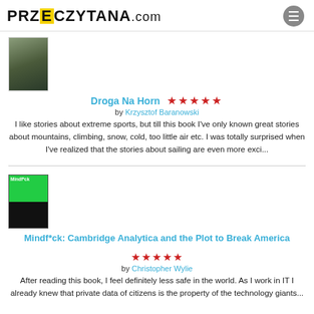PRZECZYTANA.com
[Figure (photo): Book cover for Droga Na Horn - dark green/grey tones]
Droga Na Horn
by Krzysztof Baranowski
I like stories about extreme sports, but till this book I've only known great stories about mountains, climbing, snow, cold, too little air etc. I was totally surprised when I've realized that the stories about sailing are even more exci...
[Figure (photo): Book cover for Mindf*ck - green and black tones with person's head]
Mindf*ck: Cambridge Analytica and the Plot to Break America
by Christopher Wylie
After reading this book, I feel definitely less safe in the world. As I work in IT I already knew that private data of citizens is the property of the technology giants...